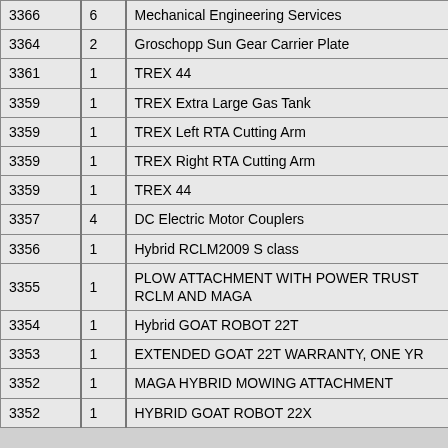|  |  |  |
| --- | --- | --- |
| 3366 | 6 | Mechanical Engineering Services |
| 3364 | 2 | Groschopp Sun Gear Carrier Plate |
| 3361 | 1 | TREX 44 |
| 3359 | 1 | TREX Extra Large Gas Tank |
| 3359 | 1 | TREX Left RTA Cutting Arm |
| 3359 | 1 | TREX Right RTA Cutting Arm |
| 3359 | 1 | TREX 44 |
| 3357 | 4 | DC Electric Motor Couplers |
| 3356 | 1 | Hybrid RCLM2009 S class |
| 3355 | 1 | PLOW ATTACHMENT WITH POWER TRUST RCLM AND MAGA |
| 3354 | 1 | Hybrid GOAT ROBOT 22T |
| 3353 | 1 | EXTENDED GOAT 22T WARRANTY, ONE YR |
| 3352 | 1 | MAGA HYBRID MOWING ATTACHMENT |
| 3352 | 1 | HYBRID GOAT ROBOT 22X |